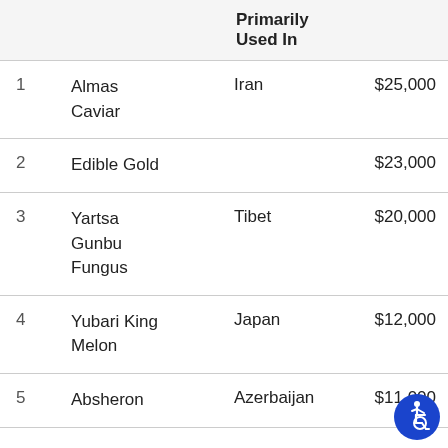|  |  | Primarily Used In |  |
| --- | --- | --- | --- |
| 1 | Almas Caviar | Iran | $25,000 |
| 2 | Edible Gold |  | $23,000 |
| 3 | Yartsa Gunbu Fungus | Tibet | $20,000 |
| 4 | Yubari King Melon | Japan | $12,000 |
| 5 | Absheron | Azerbaijan | $11,000 |